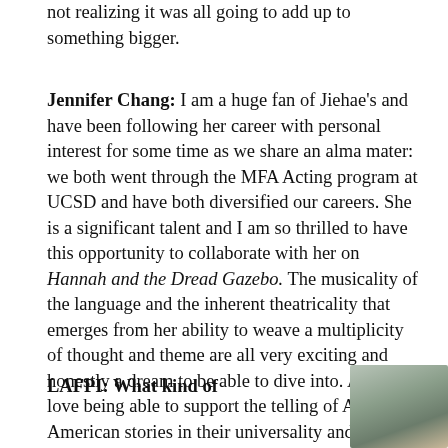not realizing it was all going to add up to something bigger.
Jennifer Chang: I am a huge fan of Jiehae's and have been following her career with personal interest for some time as we share an alma mater: we both went through the MFA Acting program at UCSD and have both diversified our careers. She is a significant talent and I am so thrilled to have this opportunity to collaborate with her on Hannah and the Dread Gazebo. The musicality of the language and the inherent theatricality that emerges from her ability to weave a multiplicity of thought and theme are all very exciting and honestly a dream to be able to dive into. Also, I love being able to support the telling of Asian American stories in their universality and three-dimensionality.
LAFPI: What kind of
[Figure (photo): Portrait photo of a woman with dark hair, bokeh background]